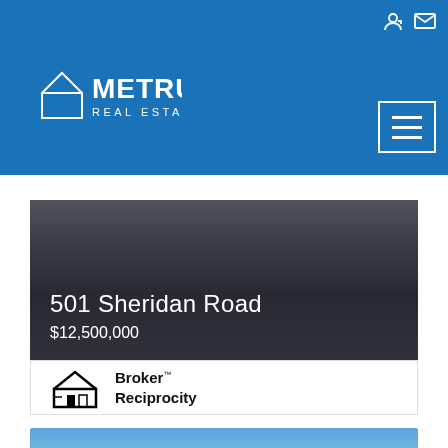[Figure (logo): Metru Real Estate logo - white text on blue header bar with house icon outline]
[Figure (screenshot): Navigation header with login icon, mail icon, and hamburger menu button on blue background]
501 Sheridan Road
$12,500,000
[Figure (photo): Broker Reciprocity logo with small house icon and bold text 'Broker Reciprocity']
[Figure (photo): Luxury home exterior with large trees against blue sky, labeled MOST EXPENSIVE]